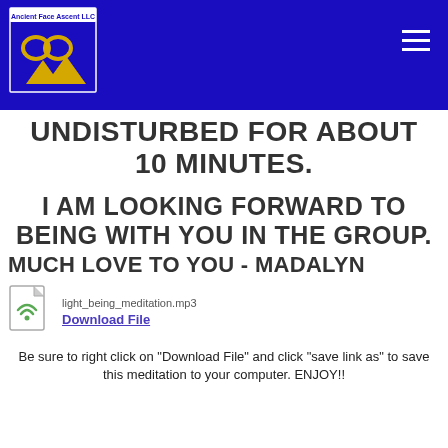[Figure (logo): Ancient Face Ascent LLC logo with stylized MM and mountain shapes in gold on dark blue background]
UNDISTURBED FOR ABOUT 10 MINUTES.
I AM LOOKING FORWARD TO BEING WITH YOU IN THE GROUP.
MUCH LOVE TO YOU - MADALYN
[Figure (other): MP3 file icon with wifi/signal waves]
light_being_meditation.mp3
Download File
Be sure to right click on "Download File" and click "save link as" to save this meditation to your computer. ENJOY!!